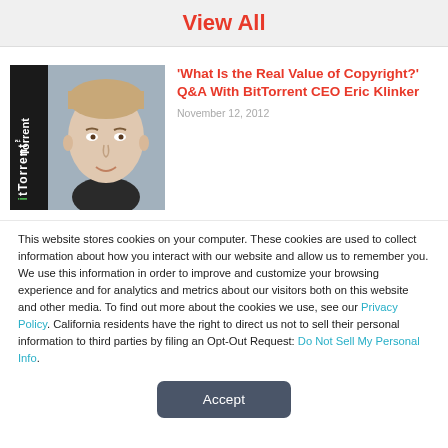View All
[Figure (photo): Photo of BitTorrent CEO Eric Klinker beside BitTorrent logo on dark sidebar]
'What Is the Real Value of Copyright?' Q&A With BitTorrent CEO Eric Klinker
November 12, 2012
This website stores cookies on your computer. These cookies are used to collect information about how you interact with our website and allow us to remember you. We use this information in order to improve and customize your browsing experience and for analytics and metrics about our visitors both on this website and other media. To find out more about the cookies we use, see our Privacy Policy. California residents have the right to direct us not to sell their personal information to third parties by filing an Opt-Out Request: Do Not Sell My Personal Info.
Accept